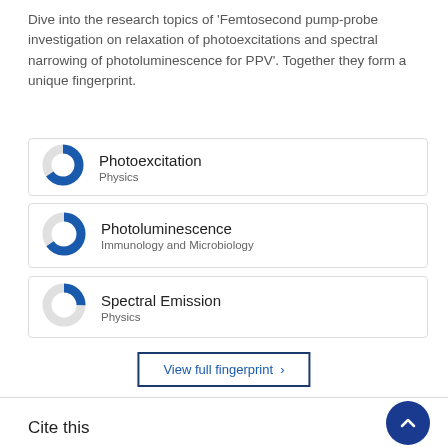Dive into the research topics of 'Femtosecond pump-probe investigation on relaxation of photoexcitations and spectral narrowing of photoluminescence for PPV'. Together they form a unique fingerprint.
[Figure (donut-chart): Donut chart ~90% filled in blue, Physics]
[Figure (donut-chart): Donut chart ~90% filled in blue, Immunology and Microbiology]
[Figure (donut-chart): Donut chart ~50% filled in blue, Physics]
View full fingerprint >
Cite this